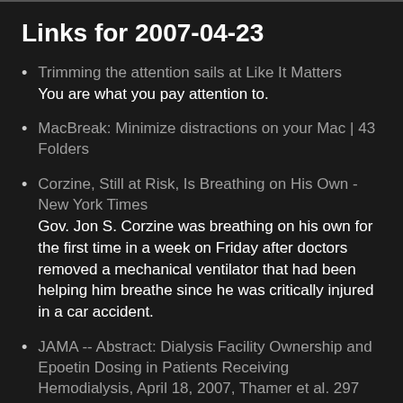Links for 2007-04-23
Trimming the attention sails at Like It Matters
You are what you pay attention to.
MacBreak: Minimize distractions on your Mac | 43 Folders
Corzine, Still at Risk, Is Breathing on His Own - New York Times
Gov. Jon S. Corzine was breathing on his own for the first time in a week on Friday after doctors removed a mechanical ventilator that had been helping him breathe since he was critically injured in a car accident.
JAMA -- Abstract: Dialysis Facility Ownership and Epoetin Dosing in Patients Receiving Hemodialysis, April 18, 2007, Thamer et al. 297 (15): 1667
Dialysis facility organizational status and ownership